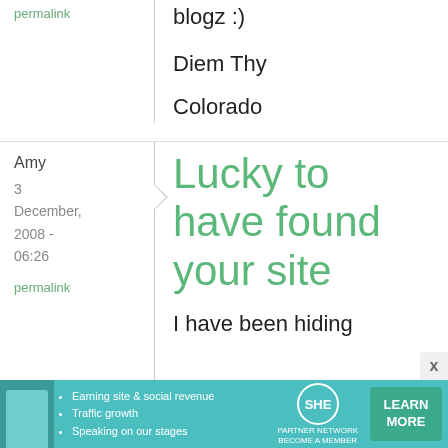blogz :)
Diem Thy
Colorado
permalink
Amy
3 December, 2008 - 06:26
permalink
Lucky to have found your site
I have been hiding around in this blog for a while - marveling at
[Figure (infographic): SHE Partner Network advertisement banner: photo of woman, bullet points about earning site & social revenue, traffic growth, speaking on our stages, SHE logo, LEARN MORE button]